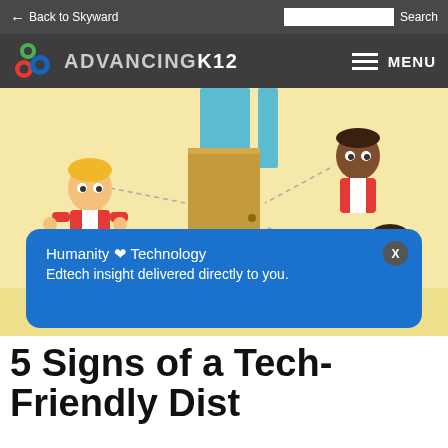← Back to Skyward    Search
ADVANCING K12   MENU
[Figure (illustration): Cartoon illustration of children near school lockers with a blue popup overlay reading 'Humanity ❤ Technology — Edtech insight delivered directly to you.' with an X close button]
Humanity ❤ Technology
Edtech insight delivered directly to you.
5 Signs of a Tech-Friendly District